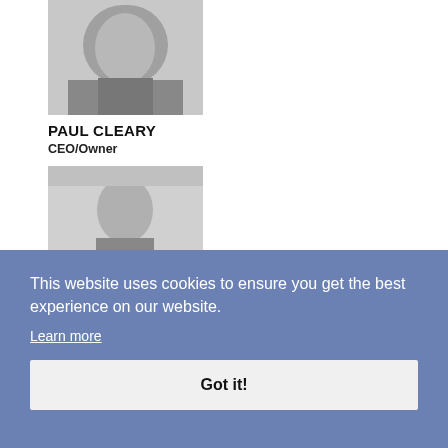[Figure (photo): Black and white portrait photo of Paul Cleary]
[Figure (photo): Black and white portrait photo of Fiona Ali-Williams]
PAUL CLEARY
CEO/Owner
FIONA ALI-WILLIAMS
Private Sales Manager
[Figure (photo): Black and white portrait photo of Helen Baker]
[Figure (photo): Black and white portrait photo of Karen Boulton]
HELEN BAKER
Senior Travel Adviser
KAREN BOULTON
This website uses cookies to ensure you get the best experience on our website.
Learn more
Got it!